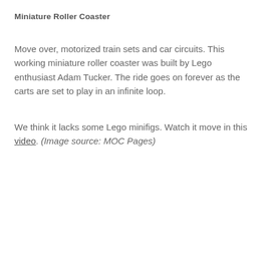Miniature Roller Coaster
Move over, motorized train sets and car circuits. This working miniature roller coaster was built by Lego enthusiast Adam Tucker. The ride goes on forever as the carts are set to play in an infinite loop.
We think it lacks some Lego minifigs. Watch it move in this video. (Image source: MOC Pages)